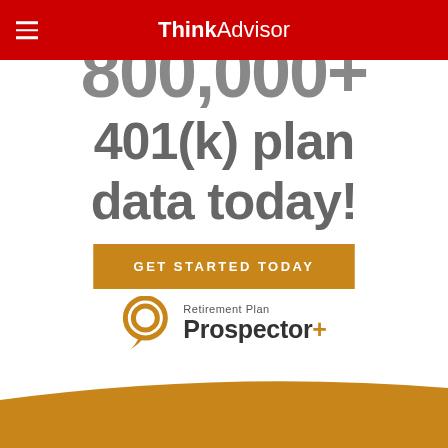ThinkAdvisor
800,000+ 401(k) plan data today!
GET STARTED TODAY
[Figure (logo): Retirement Plan Prospector+ logo with circle speech bubble icon in gold/tan color]
[Figure (other): Gold/tan curved banner at bottom of page]